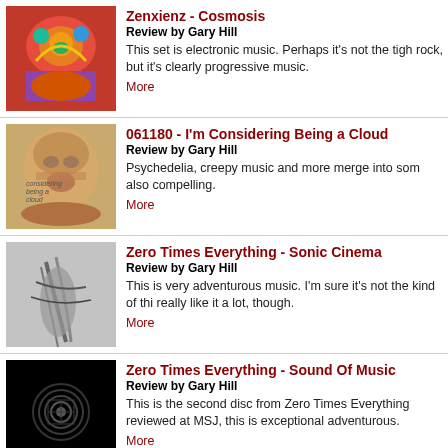[Figure (illustration): Colorful psychedelic album art with abstract creature, reds and greens]
Zenxienz - Cosmosis
Review by Gary Hill
This set is electronic music. Perhaps it's not the tigh rock, but it's clearly progressive music.
More
[Figure (photo): Close-up of a child's face, yellowish tone, text overlay]
061180 - I'm Considering Being a Cloud
Review by Gary Hill
Psychedelia, creepy music and more merge into som also compelling.
More
[Figure (photo): Black and white photo of a hand or feather on textured surface]
Zero Times Everything - Sonic Cinema
Review by Gary Hill
This is very adventurous music. I'm sure it's not the kind of thi really like it a lot, though.
More
[Figure (photo): Black album cover with geometric pattern in center]
Zero Times Everything - Sound Of Music
Review by Gary Hill
This is the second disc from Zero Times Everything reviewed at MSJ, this is exceptional adventurous.
More